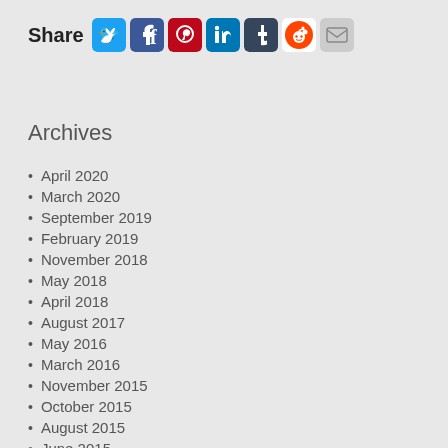Share [social icons: Twitter, Facebook, Pinterest, LinkedIn, Tumblr, Reddit, Email]
Archives
April 2020
March 2020
September 2019
February 2019
November 2018
May 2018
April 2018
August 2017
May 2016
March 2016
November 2015
October 2015
August 2015
June 2015
May 2015